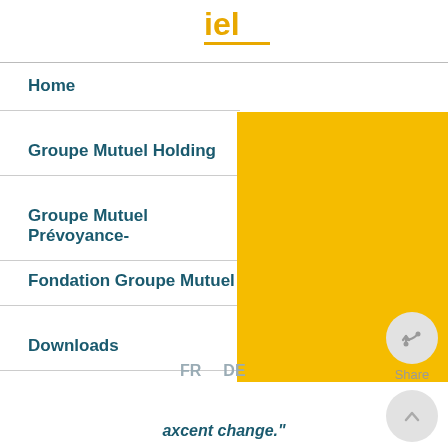uel
Home
Groupe Mutuel Holding
Groupe Mutuel Prévoyance-
Fondation Groupe Mutuel
Downloads
[Figure (other): Yellow/amber solid rectangle background block]
FR   DE
[Figure (other): Share button: circular grey button with share icon and label 'Share']
[Figure (other): Up/back-to-top button: circular grey button with upward chevron icon]
axcent change."